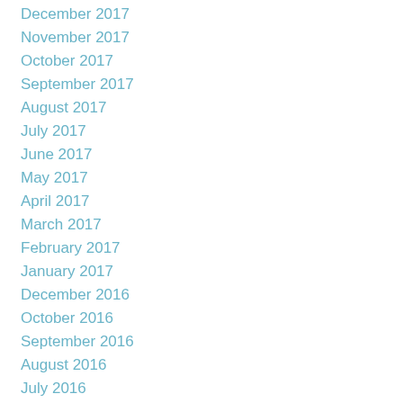December 2017
November 2017
October 2017
September 2017
August 2017
July 2017
June 2017
May 2017
April 2017
March 2017
February 2017
January 2017
December 2016
October 2016
September 2016
August 2016
July 2016
June 2016
May 2016